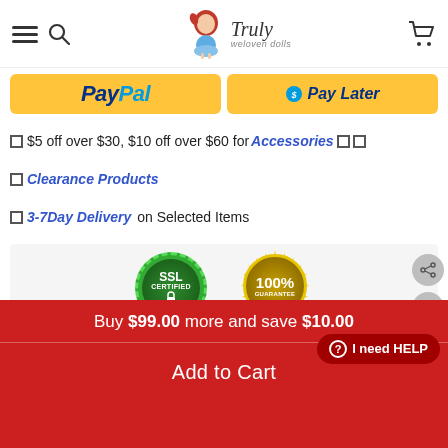Truly weloven dolls — navigation bar with menu, search, logo, cart
[Figure (screenshot): PayPal and Pay Later yellow payment buttons]
🔲$5 off over $30, $10 off over $60 for Accessories🔲🔲
🔲Clearance Products
🔲3-7Day Delivery on Selected Items
[Figure (infographic): Guaranteed SAFE Checkout banner with SSL Certified and 100% Guarantee badges, payment icons]
Buy $99.00 more and save $10.00
Add to Cart
I need HELP